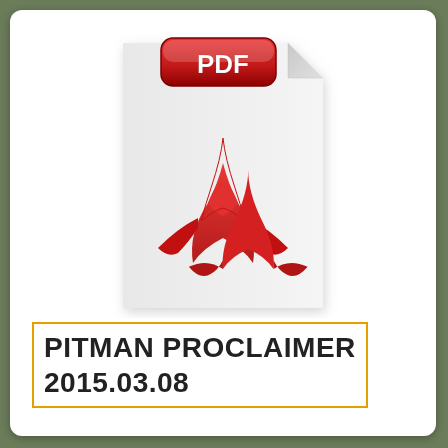[Figure (illustration): Adobe PDF file icon: a grey/white document page with folded top-right corner and a red Adobe Acrobat logo (stylized A shape) in the center, with a red rounded-rectangle badge labeled PDF at the top]
PITMAN PROCLAIMER 2015.03.08